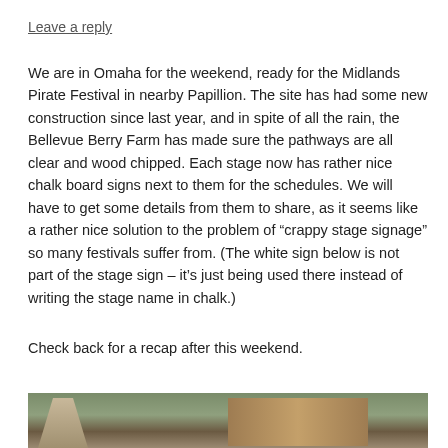Leave a reply
We are in Omaha for the weekend, ready for the Midlands Pirate Festival in nearby Papillion. The site has had some new construction since last year, and in spite of all the rain, the Bellevue Berry Farm has made sure the pathways are all clear and wood chipped. Each stage now has rather nice chalk board signs next to them for the schedules. We will have to get some details from them to share, as it seems like a rather nice solution to the problem of “crappy stage signage” so many festivals suffer from. (The white sign below is not part of the stage sign – it’s just being used there instead of writing the stage name in chalk.)
Check back for a recap after this weekend.
[Figure (photo): Outdoor photo showing a person in a hat on the left and a wooden lattice structure with green foliage in the background]